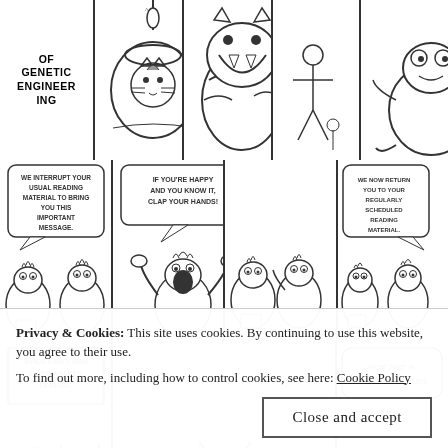[Figure (illustration): Comic strip page showing three rows of cartoon panels. Row 1: Text panel reading 'OF GENETIC ENGINEERING' followed by cartoon panels with a fish bowl cat, a tiger, a small figure, and a frog-like creature. Row 2: Four panels showing cartoon blob characters with speech bubbles: 'WE INTERRUPT YOUR USUAL READING MATERIAL TO BRING YOU THIS IMPORTANT MESSAGE.', 'IF YOU'RE HAPPY AND YOU KNOW IT, CLAP YOUR HANDS!', 'CLAP CLAP', 'WE NOW RETURN YOU TO YOUR REGULARLY SCHEDULED READING MATERIAL.' Row 3: Three panels with a character and speech bubble 'WHEN EARLY MAN FIRST WALKED UPRIGHT.' and a thought bubble 'NOW THAT IS ONE STRANGE DUDE.']
Privacy & Cookies: This site uses cookies. By continuing to use this website, you agree to their use.
To find out more, including how to control cookies, see here: Cookie Policy